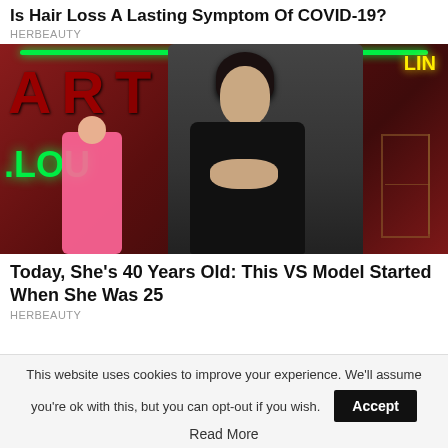Is Hair Loss A Lasting Symptom Of COVID-19?
HERBEAUTY
[Figure (photo): Fashion model wearing black ruffled crop top at what appears to be a fashion show with neon signs in background; pink-clothed figure visible to the left; dark red background with green neon lighting.]
Today, She’s 40 Years Old: This VS Model Started When She Was 25
HERBEAUTY
This website uses cookies to improve your experience. We'll assume you're ok with this, but you can opt-out if you wish.
Accept
Read More